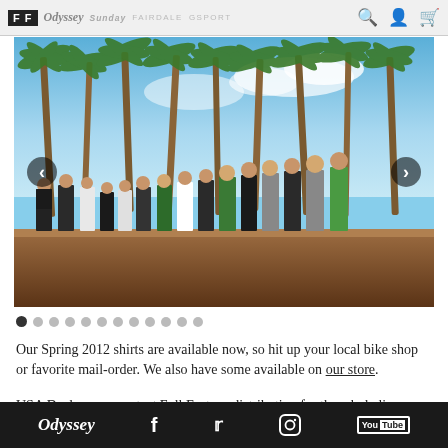FF Odyssey Sunday Fairdale GSPORT [nav icons]
[Figure (photo): Group photo of approximately 15 people standing on a ramp/rooftop wearing Odyssey brand t-shirts, with palm trees in the background against a blue sky. Navigation arrows visible on left and right sides.]
Our Spring 2012 shirts are available now, so hit up your local bike shop or favorite mail-order. We also have some available on our store.
USA Dealers can contact Full Factory distribution for the whole line. International dealers contact your local Odyssey distributor.
Odyssey [Facebook] [Twitter] [Instagram] [YouTube]